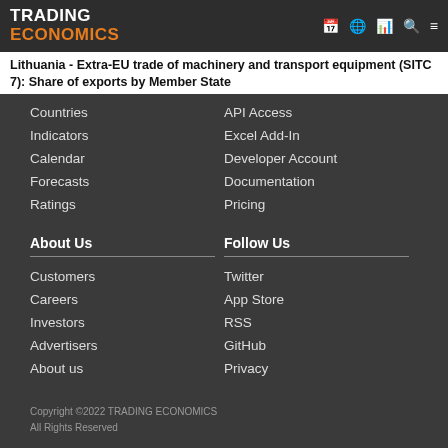TRADING ECONOMICS
Lithuania - Extra-EU trade of machinery and transport equipment (SITC 7): Share of exports by Member State
Countries
Indicators
Calendar
Forecasts
Ratings
API Access
Excel Add-In
Developer Account
Documentation
Pricing
About Us
Follow Us
Customers
Careers
Investors
Advertisers
About us
Twitter
App Store
RSS
GitHub
Privacy
Copyright ©2022 TRADING ECONOMICS
All Rights Reserved